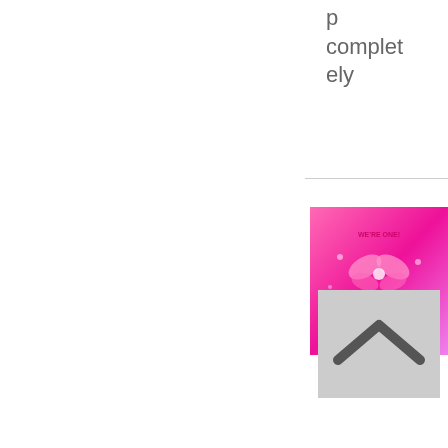p completely
[Figure (illustration): Pink promotional image with text 'We're One!' and decorative elements on a pink/magenta gradient background]
[Figure (other): Scroll-to-top button with upward pointing chevron/arrow on a light gray background]